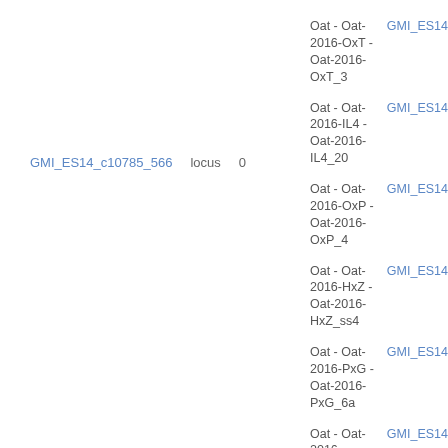GMI_ES14_c10785_566    locus    0
Oat - Oat-2016-OxT - Oat-2016-OxT_3
GMI_ES14
Oat - Oat-2016-IL4 - Oat-2016-IL4_20
GMI_ES14
Oat - Oat-2016-OxP - Oat-2016-OxP_4
GMI_ES14
Oat - Oat-2016-HxZ - Oat-2016-HxZ_ss4
GMI_ES14
Oat - Oat-2016-PxG - Oat-2016-PxG_6a
GMI_ES14
Oat - Oat-2016-Consensus - Oat-2016-Consensus-5
GMI_ES14